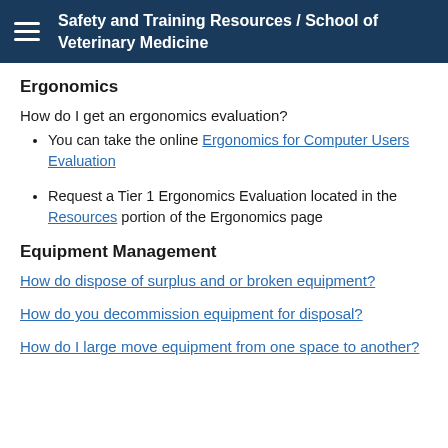Safety and Training Resources / School of Veterinary Medicine
Ergonomics
How do I get an ergonomics evaluation?
You can take the online Ergonomics for Computer Users Evaluation
Request a Tier 1 Ergonomics Evaluation located in the Resources portion of the Ergonomics page
Equipment Management
How do dispose of surplus and or broken equipment?
How do you decommission equipment for disposal?
How do I large move equipment from one space to another?